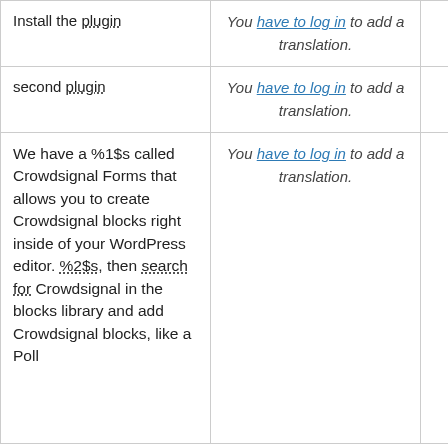| Plugin/Description | Translation Note | Action |
| --- | --- | --- |
| Install the plugin | You have to log in to add a translation. | Details |
| second plugin | You have to log in to add a translation. | Details |
| We have a %1$s called Crowdsignal Forms that allows you to create Crowdsignal blocks right inside of your WordPress editor. %2$s, then search for Crowdsignal in the blocks library and add Crowdsignal blocks, like a Poll | You have to log in to add a translation. | Details |